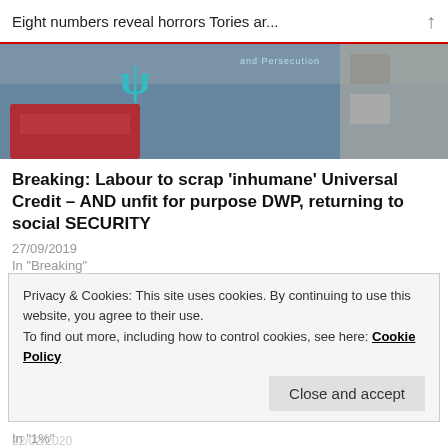Eight numbers reveal horrors Tories ar...
[Figure (photo): Blurry street photo showing a teal letter P symbol, a red London double-decker bus, and signage including text 'and Persecution']
Breaking: Labour to scrap 'inhumane' Universal Credit – AND unfit for purpose DWP, returning to social SECURITY
27/09/2019
In "Breaking"
McVey admits 200k more children into poverty. Truth: at LEAST 1.2m
Privacy & Cookies: This site uses cookies. By continuing to use this website, you agree to their use.
To find out more, including how to control cookies, see here: Cookie Policy
Close and accept
In "1%"